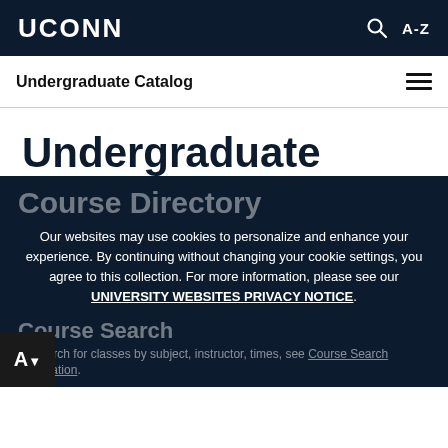UCONN  A-Z
Undergraduate Catalog
Undergraduate
Course Directory
Our websites may use cookies to personalize and enhance your experience. By continuing without changing your cookie settings, you agree to this collection. For more information, please see our UNIVERSITY WEBSITES PRIVACY NOTICE.
Course Search
To search for classes by subject, instructor, times, see Course Search information.